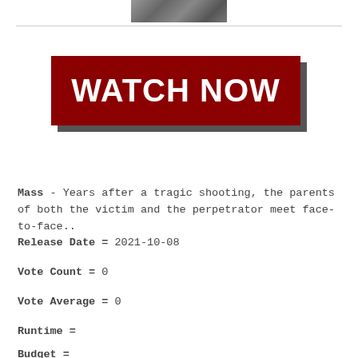[Figure (photo): Partial photo of faces at top of page]
[Figure (other): Dark red 'WATCH NOW' button banner with drop shadow]
Mass - Years after a tragic shooting, the parents of both the victim and the perpetrator meet face-to-face..
Release Date = 2021-10-08
Vote Count = 0
Vote Average = 0
Runtime =
Budget =